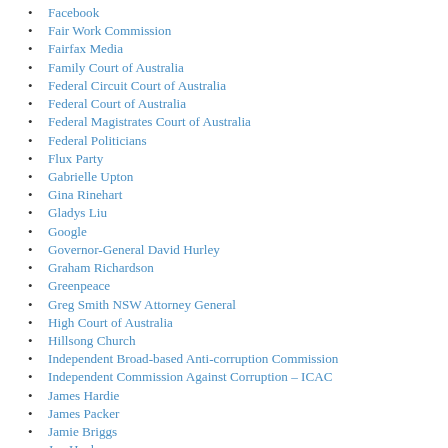Facebook
Fair Work Commission
Fairfax Media
Family Court of Australia
Federal Circuit Court of Australia
Federal Court of Australia
Federal Magistrates Court of Australia
Federal Politicians
Flux Party
Gabrielle Upton
Gina Rinehart
Gladys Liu
Google
Governor-General David Hurley
Graham Richardson
Greenpeace
Greg Smith NSW Attorney General
High Court of Australia
Hillsong Church
Independent Broad-based Anti-corruption Commission
Independent Commission Against Corruption – ICAC
James Hardie
James Packer
Jamie Briggs
Joe Hockey
John Barilaro
John Della Bosca